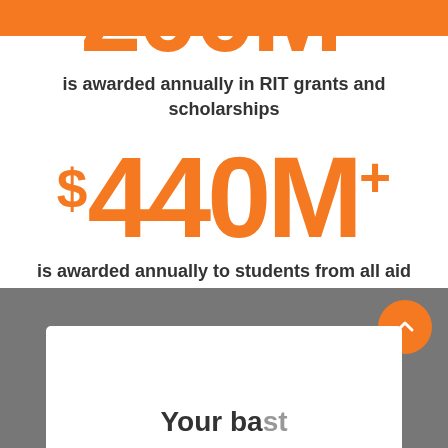200M+
is awarded annually in RIT grants and scholarships
$440M+
is awarded annually to students from all aid sources
[Figure (infographic): Gray background section with orange circular back-to-top button and white card at bottom with partial heading text]